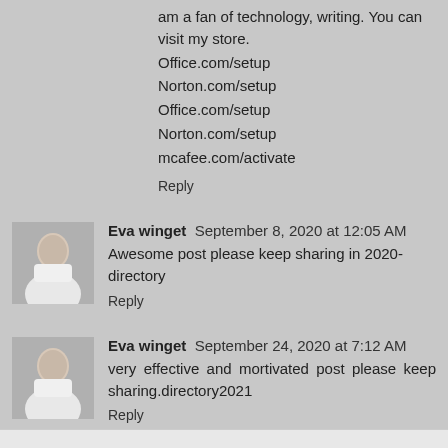am a fan of technology, writing. You can visit my store.
Office.com/setup
Norton.com/setup
Office.com/setup
Norton.com/setup
mcafee.com/activate
Reply
Eva winget  September 8, 2020 at 12:05 AM
Awesome post please keep sharing in 2020-directory
Reply
Eva winget  September 24, 2020 at 7:12 AM
very effective and mortivated post please keep sharing.directory2021
Reply